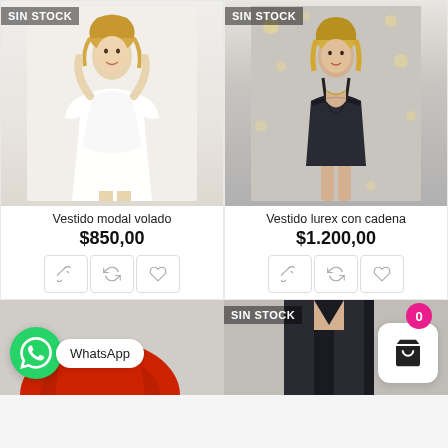[Figure (photo): Woman wearing white dress (Vestido modal volado), with SIN STOCK badge]
[Figure (photo): Woman wearing dark lurex dress with chain (Vestido lurex con cadena), with SIN STOCK badge]
Vestido modal volado
$850,00
Vestido lurex con cadena
$1.200,00
[Figure (photo): Bottom left partial image showing red garment and WhatsApp button with label]
[Figure (photo): Bottom right partial image showing woman in black outfit with SIN STOCK badge and shopping cart button with badge showing 0]